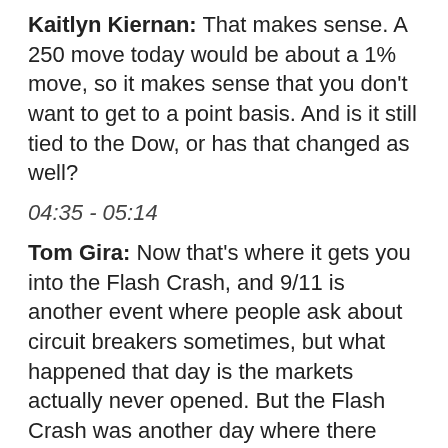Kaitlyn Kiernan: That makes sense. A 250 move today would be about a 1% move, so it makes sense that you don't want to get to a point basis. And is it still tied to the Dow, or has that changed as well?
04:35 - 05:14
Tom Gira: Now that's where it gets you into the Flash Crash, and 9/11 is another event where people ask about circuit breakers sometimes, but what happened that day is the markets actually never opened. But the Flash Crash was another day where there was a precipitous drop in the afternoon. It was a 9 percent drop in the market, but after '97 it was set at a 10 percent level. So it didn't activate the circuit breaker because of how they were changed. However, there were some changes with respect to the circuit breakers.
Sorry if I get too technical, but with the Dow Jones as a